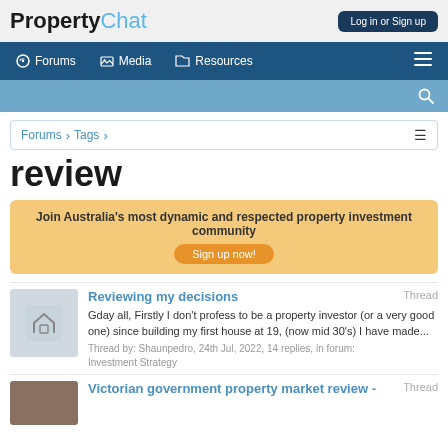PropertyChat — Log in or Sign up
Forums | Media | Resources
Forums > Tags
review
Join Australia's most dynamic and respected property investment community
Sign up now!
Reviewing my decisions
Gday all, Firstly I don't profess to be a property investor (or a very good one) since building my first house at 19, (now mid 30's) I have made...
Thread by: Shaunpedro, 24th Jul, 2022, 14 replies, in forum: Investment Strategy
Victorian government property market review -
Thread